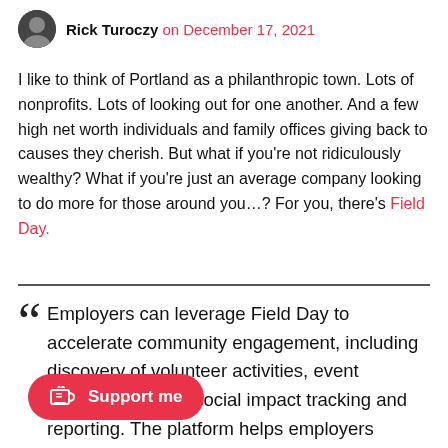Rick Turoczy on December 17, 2021
I like to think of Portland as a philanthropic town. Lots of nonprofits. Lots of looking out for one another. And a few high net worth individuals and family offices giving back to causes they cherish. But what if you're not ridiculously wealthy? What if you're just an average company looking to do more for those around you…? For you, there's Field Day.
Employers can leverage Field Day to accelerate community engagement, including discovery of volunteer activities, event coordination, and social impact tracking and reporting. The platform helps employers …g and retention by bringing employees together in their local communities